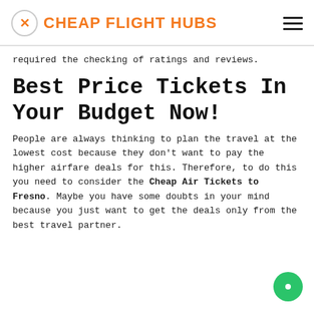CHEAP FLIGHT HUBS
required the checking of ratings and reviews.
Best Price Tickets In Your Budget Now!
People are always thinking to plan the travel at the lowest cost because they don't want to pay the higher airfare deals for this. Therefore, to do this you need to consider the Cheap Air Tickets to Fresno. Maybe you have some doubts in your mind because you just want to get the deals only from the best travel partner.